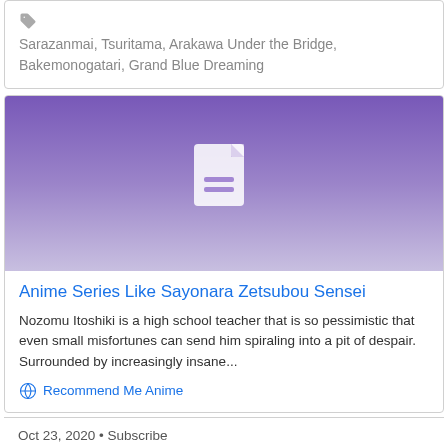Sarazanmai, Tsuritama, Arakawa Under the Bridge, Bakemonogatari, Grand Blue Dreaming
[Figure (illustration): Purple gradient background with a white document/file icon in the center, representing a blog post card image]
Anime Series Like Sayonara Zetsubou Sensei
Nozomu Itoshiki is a high school teacher that is so pessimistic that even small misfortunes can send him spiraling into a pit of despair. Surrounded by increasingly insane...
Recommend Me Anime
Oct 23, 2020 • Subscribe